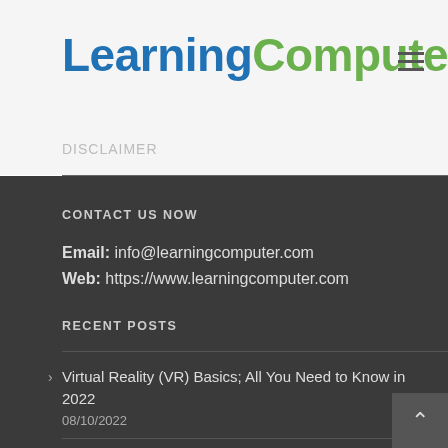LearningComputer
CONTACT US NOW
Email: info@learningcomputer.com
Web: https://www.learningcomputer.com
RECENT POSTS
Virtual Reality (VR) Basics; All You Need to Know in 2022
08/10/2022
Top 10 Reasons To Learn JavaScript In 2022
07/18/2022